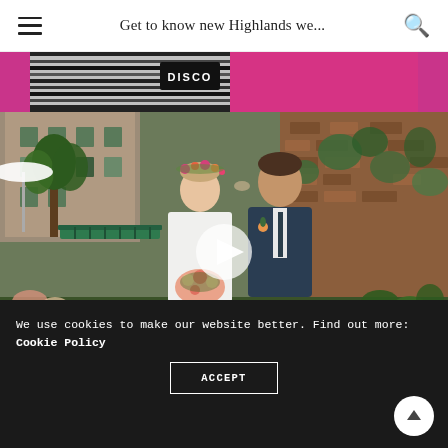Get to know new Highlands we...
[Figure (photo): Top strip showing pink fabric and striped clothing with DISCO text]
[Figure (photo): Wedding couple kissing outdoors in front of brick building with ivy, woman wearing flower crown, man in dark suit, with a video play button overlay]
We use cookies to make our website better. Find out more: Cookie Policy
ACCEPT